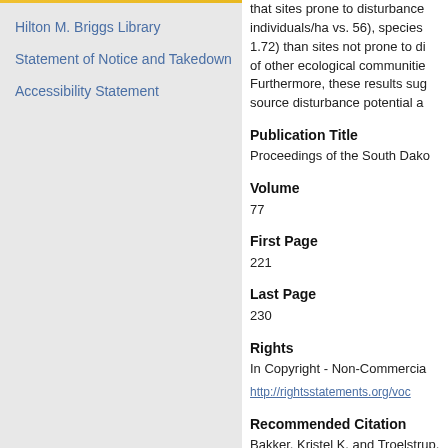Hilton M. Briggs Library
Statement of Notice and Takedown
Accessibility Statement
that sites prone to disturbance individuals/ha vs. 56), species 1.72) than sites not prone to di of other ecological communities. Furthermore, these results sug source disturbance potential a
Publication Title
Proceedings of the South Dako
Volume
77
First Page
221
Last Page
230
Rights
In Copyright - Non-Commercia
http://rightsstatements.org/voc
Recommended Citation
Bakker, Kristel K. and Troelstrup,
Point Source Disturbance Potenti